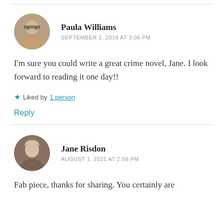[Figure (illustration): Avatar photo of Paula Williams, circular crop, woman with glasses]
Paula Williams
SEPTEMBER 2, 2018 AT 3:06 PM
I'm sure you could write a great crime novel, Jane. I look forward to reading it one day!!
★ Liked by 1 person
Reply
[Figure (illustration): Avatar photo of Jane Risdon, circular crop, woman with light hair]
Jane Risdon
AUGUST 1, 2021 AT 2:56 PM
Fab piece, thanks for sharing. You certainly are